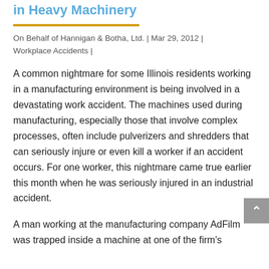in Heavy Machinery
On Behalf of Hannigan & Botha, Ltd. | Mar 29, 2012 | Workplace Accidents |
A common nightmare for some Illinois residents working in a manufacturing environment is being involved in a devastating work accident. The machines used during manufacturing, especially those that involve complex processes, often include pulverizers and shredders that can seriously injure or even kill a worker if an accident occurs. For one worker, this nightmare came true earlier this month when he was seriously injured in an industrial accident.
A man working at the manufacturing company AdFilm was trapped inside a machine at one of the firm's